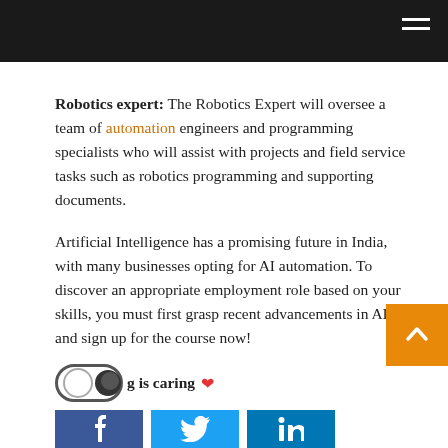[Navigation bar with hamburger menu]
Robotics expert: The Robotics Expert will oversee a team of automation engineers and programming specialists who will assist with projects and field service tasks such as robotics programming and supporting documents.
Artificial Intelligence has a promising future in India, with many businesses opting for AI automation. To discover an appropriate employment role based on your skills, you must first grasp recent advancements in AI and sign up for the course now!
Sharing is caring ❤
[Figure (other): Social sharing buttons: Facebook, Twitter, LinkedIn]